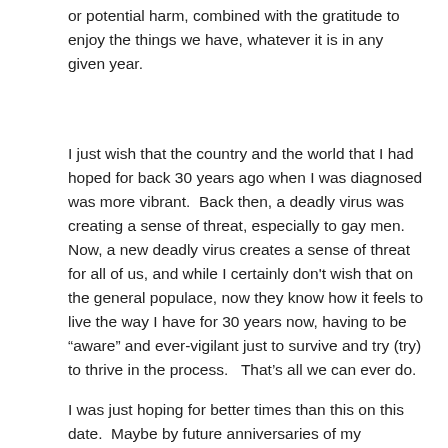or potential harm, combined with the gratitude to enjoy the things we have, whatever it is in any given year.
I just wish that the country and the world that I had hoped for back 30 years ago when I was diagnosed was more vibrant.  Back then, a deadly virus was creating a sense of threat, especially to gay men.  Now, a new deadly virus creates a sense of threat for all of us, and while I certainly don't wish that on the general populace, now they know how it feels to live the way I have for 30 years now, having to be “aware” and ever-vigilant just to survive and try (try) to thrive in the process.   That’s all we can ever do.
I was just hoping for better times than this on this date.  Maybe by future anniversaries of my